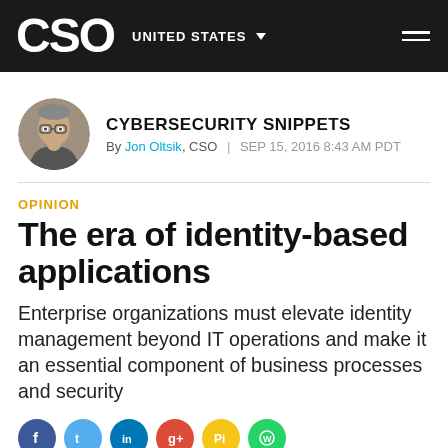CSO | UNITED STATES
[Figure (photo): Headshot of Jon Oltsik, a man with glasses and grey hair]
CYBERSECURITY SNIPPETS
By Jon Oltsik, CSO | SEP 15, 2016 8:43 AM PDT
OPINION
The era of identity-based applications
Enterprise organizations must elevate identity management beyond IT operations and make it an essential component of business processes and security